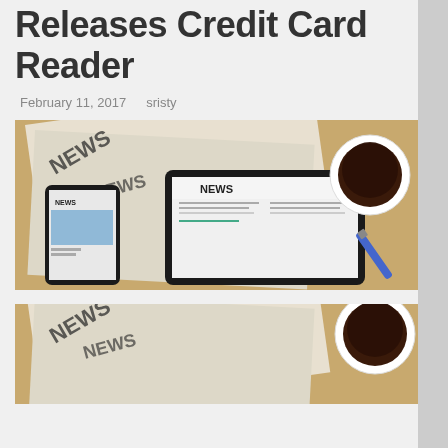Releases Credit Card Reader
February 11, 2017    sristy
[Figure (photo): Overhead view of newspapers, a tablet showing a NEWS website, a smartphone showing NEWS app, and a cup of coffee with a pen on a wooden table.]
[Figure (photo): Partial view of the same overhead news scene cropped at the bottom of the page.]